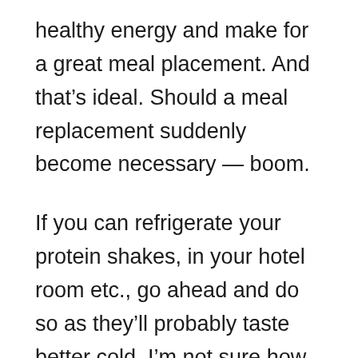healthy energy and make for a great meal placement. And that's ideal. Should a meal replacement suddenly become necessary — boom.
If you can refrigerate your protein shakes, in your hotel room etc., go ahead and do so as they'll probably taste better cold. I'm not sure how well protein shakes would hold up if they're consistently being taken in and out of the refrigerator. If the shake's temperature keeps changing dramatically, I would imagine it would